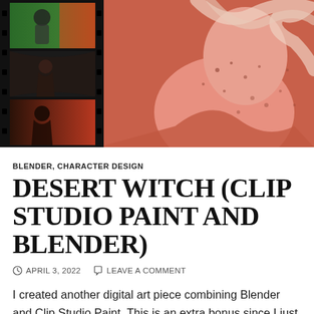[Figure (illustration): Hero image showing a film strip on the left with three frames depicting a figure in dark tones with green/orange backgrounds, and a large digital illustration on the right of a desert witch character with pink/orange skin tones, freckles, and flowing light-colored hair against a warm orange background.]
BLENDER, CHARACTER DESIGN
DESERT WITCH (CLIP STUDIO PAINT AND BLENDER)
APRIL 3, 2022   LEAVE A COMMENT
I created another digital art piece combining Blender and Clip Studio Paint. This is an extra bonus since I just uploaded City Witch last night. I should probably think about pacing myself. 🙂 I am going to go back to posting only once a week but I had a vision in my mind for this